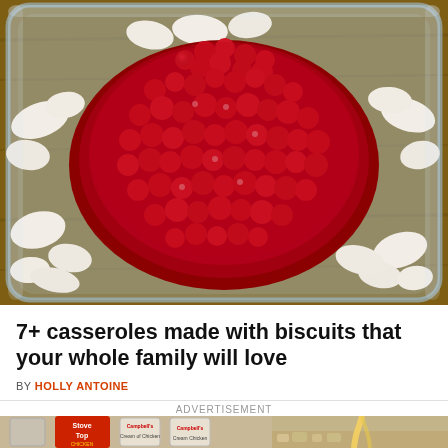[Figure (photo): Top-down view of a glass baking dish containing pieces of white biscuit dough topped with red cranberry sauce and cranberries]
7+ casseroles made with biscuits that your whole family will love
BY HOLLY ANTOINE
ADVERTISEMENT
[Figure (photo): Left: Canned goods including Kraft Stove Top Chicken stuffing mix, Kroger chicken broth, and Campbell's Cream of Chicken soup cans arranged together. Right: A hand pouring a yellow liquid (butter or sauce) over a crumbly mixture in a white baking dish.]